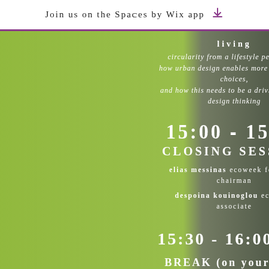Join us on the Spaces by Wix app
living
circularity from a lifestyle perspective how urban design enables more sustainable choices,
and how this needs to be a driving force in design thinking
15:00 - 15:30
CLOSING SESSION
elias messinas ecoweek founding chairman
despoina kouinoglou ecoweek associate
15:30 - 16:00
BREAK (on your own)
16:00 - 17:00
MEET ONLINE WITH THE